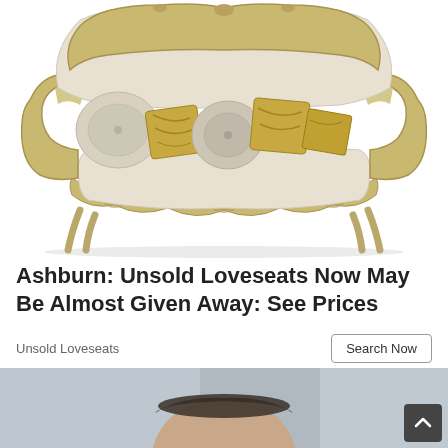[Figure (photo): A French-style ornate loveseat/sofa with gold carved wooden frame, beige/cream upholstery, and multiple decorative pillows including round tufted pillows and gold satin square pillows, shown on white background.]
Ashburn: Unsold Loveseats Now May Be Almost Given Away: See Prices
Unsold Loveseats
Search Now
[Figure (photo): Partial photo of a man's head (top portion visible) with short dark hair, blurred background.]